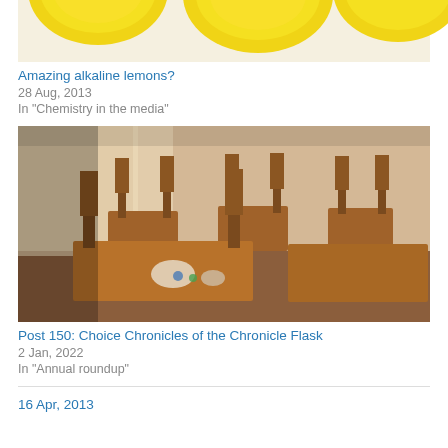[Figure (photo): Partial top view of yellow lemons on white background]
Amazing alkaline lemons?
28 Aug, 2013
In "Chemistry in the media"
[Figure (photo): Classroom with wooden chairs stacked on desks, warm sunlight]
Post 150: Choice Chronicles of the Chronicle Flask
2 Jan, 2022
In "Annual roundup"
16 Apr, 2013